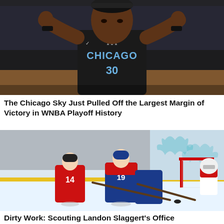[Figure (photo): A Chicago Sky basketball player wearing a black jersey with 'CHICAGO' and number 30 in blue, making hand gestures in front of her face on a basketball court.]
The Chicago Sky Just Pulled Off the Largest Margin of Victory in WNBA Playoff History
[Figure (photo): A hockey game scene showing players in red-and-white and blue-and-white uniforms competing near a goal post on ice, with a decorative leaf backdrop behind the boards.]
Dirty Work: Scouting Landon Slaggert's Office